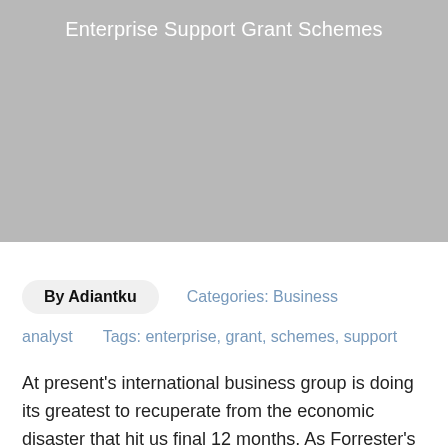[Figure (photo): Gray placeholder hero image with white text title 'Enterprise Support Grant Schemes' at the top center]
Enterprise Support Grant Schemes
By Adiantku   Categories: Business
analyst   Tags: enterprise, grant, schemes, support
At present's international business group is doing its greatest to recuperate from the economic disaster that hit us final 12 months. As Forrester's Kate Leggett factors out